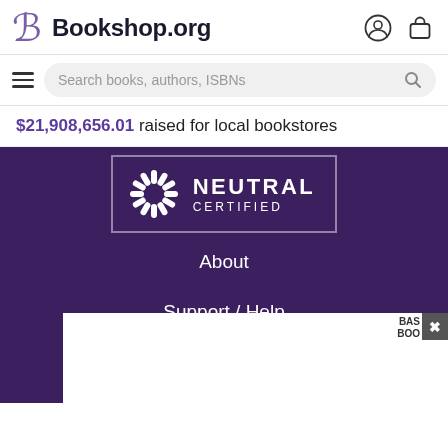Bookshop.org
Search books, authors, ISBNs
$21,908,656.01 raised for local bookstores
[Figure (logo): Carbon Neutral Certified badge with sunburst icon, white text on dark purple background reading NEUTRAL CERTIFIED]
About
Support / Help
Become an Affiliate
[Figure (screenshot): Partial advertisement box with BAS BOOKS label and close button]